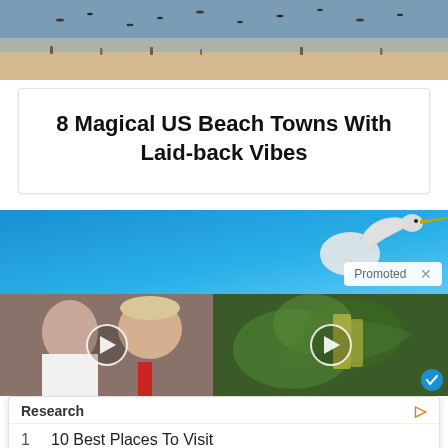[Figure (photo): Aerial or wide shot of a beach with birds and water, warm sand tones]
8 Magical US Beach Towns With Laid-back Vibes
[Figure (photo): Promoted banner ad with a heron bird on blue background]
[Figure (photo): Two video thumbnails side by side: left shows two people (Melania and Donald Trump), right shows green vegetables]
Research
1   10 Best Places To Visit
2   Luxury Last Minute Trip Deals
Yahoo! Search | Sponsored